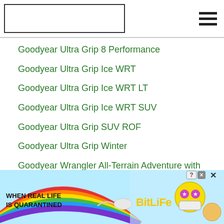Goodyear Ultra Grip 8 Performance
Goodyear Ultra Grip Ice WRT
Goodyear Ultra Grip Ice WRT LT
Goodyear Ultra Grip Ice WRT SUV
Goodyear Ultra Grip SUV ROF
Goodyear Ultra Grip Winter
Goodyear Wrangler All-Terrain Adventure with Kevlar
Goodyear Wrangler AT
[Figure (screenshot): Advertisement banner: BitLife app ad with rainbow background, text 'WHEN REAL LIFE IS QUARANTINED' and 'BitLife' logo with cartoon emoji characters]